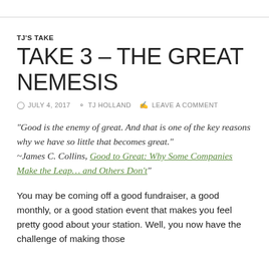TJ'S TAKE
TAKE 3 – THE GREAT NEMESIS
JULY 4, 2017  TJ HOLLAND  LEAVE A COMMENT
"Good is the enemy of great.  And that is one of the key reasons why we have so little that becomes great." ~James C. Collins, "Good to Great: Why Some Companies Make the Leap... and Others Don't"
You may be coming off a good fundraiser, a good monthly, or a good station event that makes you feel pretty good about your station. Well, you now have the challenge of making those